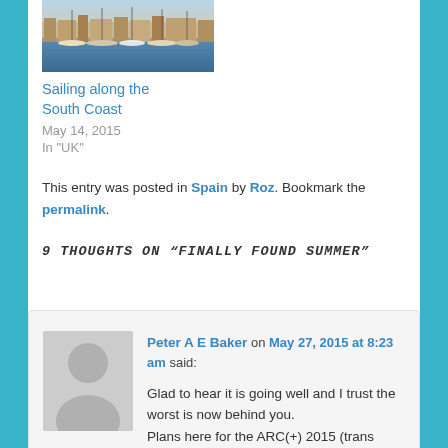[Figure (photo): Harbor/marina with sailboats moored at golden hour]
Sailing along the South Coast
May 14, 2015
In "UK"
This entry was posted in Spain by Roz. Bookmark the permalink.
9 THOUGHTS ON “FINALLY FOUND SUMMER”
[Figure (photo): Default grey avatar/silhouette image for commenter]
Peter A E Baker on May 27, 2015 at 8:23 am said:
Glad to hear it is going well and I trust the worst is now behind you.
Plans here for the ARC(+) 2015 (trans Atlantic via...